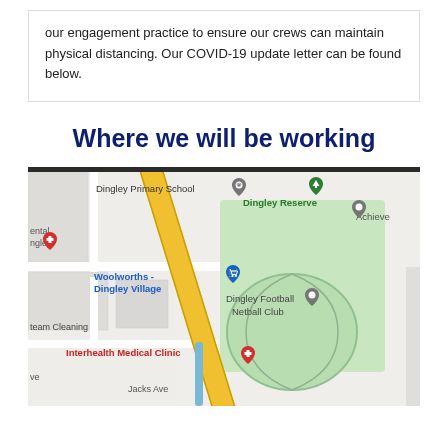our engagement practice to ensure our crews can maintain physical distancing. Our COVID-19 update letter can be found below.
Where we will be working
[Figure (map): Google Maps screenshot showing Dingley Village area with Dingley Primary School, Dingley Reserve, Woolworths Dingley Village, Dingley Football Netball Club, Interhealth Medical Clinic, and surrounding streets including Jacks Ave and Southern Dr.]